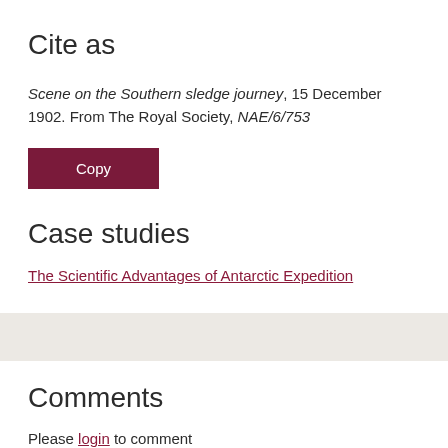Cite as
Scene on the Southern sledge journey, 15 December 1902. From The Royal Society, NAE/6/753
Copy
Case studies
The Scientific Advantages of Antarctic Expedition
Comments
Please login to comment